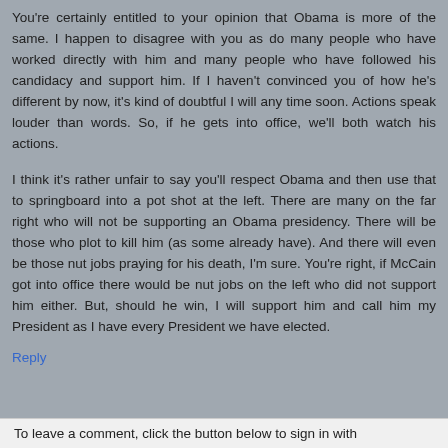You're certainly entitled to your opinion that Obama is more of the same. I happen to disagree with you as do many people who have worked directly with him and many people who have followed his candidacy and support him. If I haven't convinced you of how he's different by now, it's kind of doubtful I will any time soon. Actions speak louder than words. So, if he gets into office, we'll both watch his actions.
I think it's rather unfair to say you'll respect Obama and then use that to springboard into a pot shot at the left. There are many on the far right who will not be supporting an Obama presidency. There will be those who plot to kill him (as some already have). And there will even be those nut jobs praying for his death, I'm sure. You're right, if McCain got into office there would be nut jobs on the left who did not support him either. But, should he win, I will support him and call him my President as I have every President we have elected.
Reply
To leave a comment, click the button below to sign in with